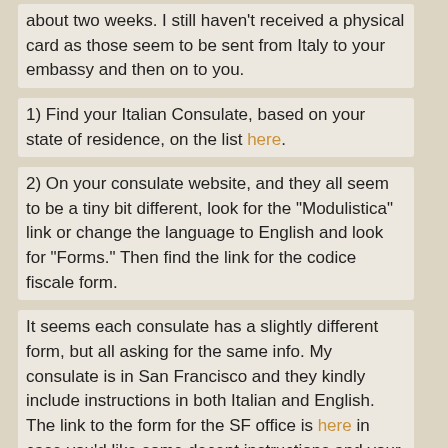about two weeks. I still haven't received a physical card as those seem to be sent from Italy to your embassy and then on to you.
1) Find your Italian Consulate, based on your state of residence, on the list here.
2) On your consulate website, and they all seem to be a tiny bit different, look for the "Modulistica" link or change the language to English and look for "Forms." Then find the link for the codice fiscale form.
It seems each consulate has a slightly different form, but all asking for the same info. My consulate is in San Francisco and they kindly include instructions in both Italian and English. The link to the form for the SF office is here in case you'd like some decent instructions and your consulate isn't quite as thorough. I don't know if it matters whether you fill out your consulate's specific form, but some do have their location listed in the form title. SF doesn't.
3) Follow the instructions to fill out the form and send it, a copy of your passport, and a self-addressed stamped envelope to your consulate. Wait ca. two weeks for them to email your codice to you.